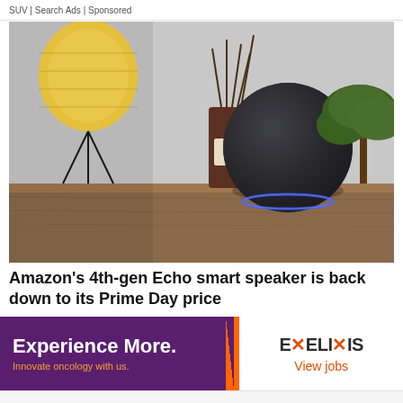SUV | Search Ads | Sponsored
[Figure (photo): Amazon Echo 4th generation smart speaker (dark charcoal sphere) sitting on a wooden shelf with a yellow lantern lamp, a dark glass reed diffuser bottle, and a small bonsai tree in the background against a light grey wall.]
Amazon's 4th-gen Echo smart speaker is back down to its Prime Day price
[Figure (infographic): Advertisement banner for Exelixis. Left purple side reads 'Experience More.' with subtext 'Innovate oncology with us.' separated by an orange vertical stripe. Right white side shows the EXELIXIS logo and 'View jobs' link in orange.]